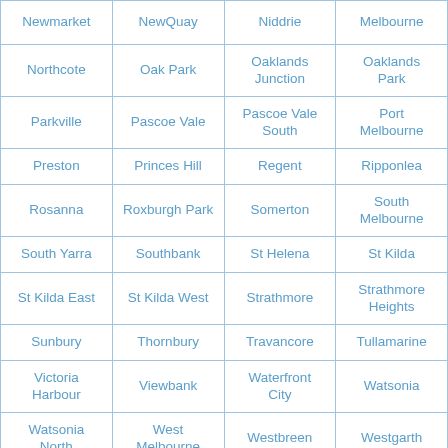| Newmarket | NewQuay | Niddrie | Melbourne |
| Northcote | Oak Park | Oaklands Junction | Oaklands Park |
| Parkville | Pascoe Vale | Pascoe Vale South | Port Melbourne |
| Preston | Princes Hill | Regent | Ripponlea |
| Rosanna | Roxburgh Park | Somerton | South Melbourne |
| South Yarra | Southbank | St Helena | St Kilda |
| St Kilda East | St Kilda West | Strathmore | Strathmore Heights |
| Sunbury | Thornbury | Travancore | Tullamarine |
| Victoria Harbour | Viewbank | Waterfront City | Watsonia |
| Watsonia North | West Melbourne | Westbreen | Westgarth |
| Westmeadows | Wildwood | Yallambie | Yarra Bend |